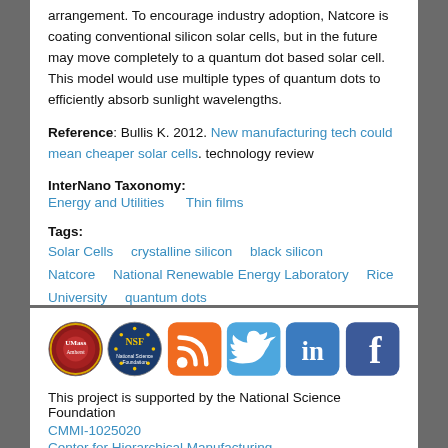arrangement. To encourage industry adoption, Natcore is coating conventional silicon solar cells, but in the future may move completely to a quantum dot based solar cell. This model would use multiple types of quantum dots to efficiently absorb sunlight wavelengths.
Reference: Bullis K. 2012. New manufacturing tech could mean cheaper solar cells. technology review
InterNano Taxonomy:
Energy and Utilities     Thin films
Tags:
Solar Cells     crystalline silicon     black silicon     Natcore     National Renewable Energy Laboratory     Rice University     quantum dots
[Figure (logo): Row of social/institutional icons: university seal, NSF logo, RSS feed icon (orange), Twitter icon (blue), LinkedIn icon (blue), Facebook icon (blue)]
This project is supported by the National Science Foundation
CMMI-1025020
Center for Hierarchical Manufacturing